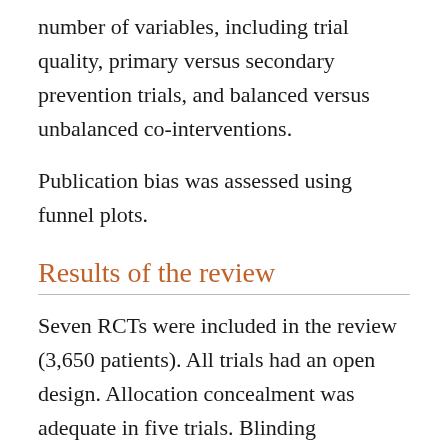number of variables, including trial quality, primary versus secondary prevention trials, and balanced versus unbalanced co-interventions.
Publication bias was assessed using funnel plots.
Results of the review
Seven RCTs were included in the review (3,650 patients). All trials had an open design. Allocation concealment was adequate in five trials. Blinding assessment for all outcomes was adequate in two trials. Follow-up ranged from two to four years (where reported). Most trials had rates of loss to follow up less than 10%. No trial was stopped early for benefit